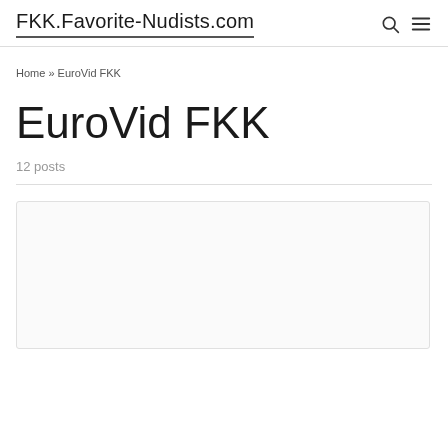FKK.Favorite-Nudists.com
Home » EuroVid FKK
EuroVid FKK
12 posts
[Figure (other): Empty white content card area at the bottom of the page]